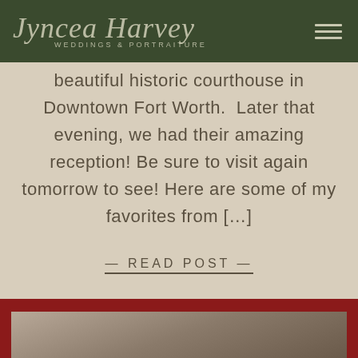Jyncea Harvey Weddings & Portraiture
beautiful historic courthouse in Downtown Fort Worth.  Later that evening, we had their amazing reception! Be sure to visit again tomorrow to see! Here are some of my favorites from […]
— READ POST —
[Figure (photo): Dark reddish-brown section at bottom of page with a partial photo strip showing a blurred/dark image]